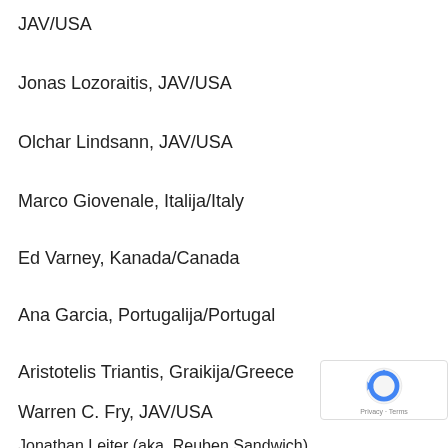JAV/USA
Jonas Lozoraitis, JAV/USA
Olchar Lindsann, JAV/USA
Marco Giovenale, Italija/Italy
Ed Varney, Kanada/Canada
Ana Garcia, Portugalija/Portugal
Aristotelis Triantis, Graikija/Greece
Warren C. Fry, JAV/USA
Jonathan Leiter (aka, Reuben Sandwich)